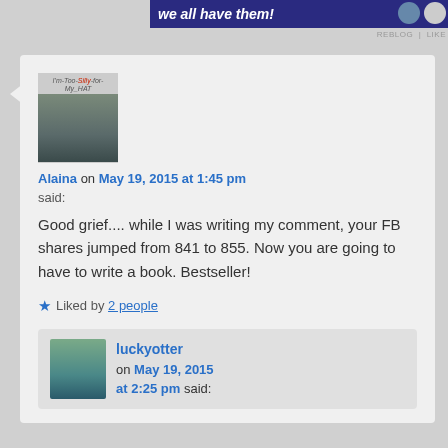[Figure (screenshot): Top dark blue banner with italic bold white text 'we all have them!' and two circular icons on the right]
REBLOG | LIKE
[Figure (photo): Profile avatar photo of a woman wearing a baseball cap and dark jacket, with text overlay 'I'm-Too-Silly-for-My_HAT']
Alaina on May 19, 2015 at 1:45 pm
said:
Good grief.... while I was writing my comment, your FB shares jumped from 841 to 855. Now you are going to have to write a book. Bestseller!
★ Liked by 2 people
[Figure (photo): Reply avatar photo of a woman in blue shirt outdoors]
luckyotter on May 19, 2015 at 2:25 pm said: